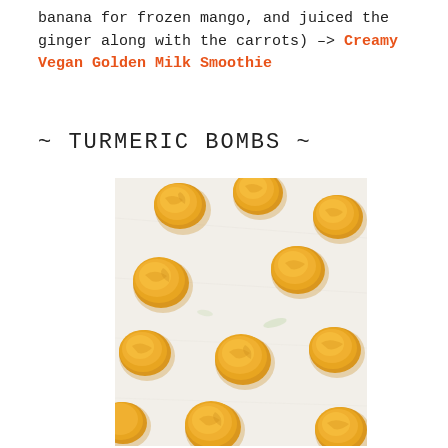banana for frozen mango, and juiced the ginger along with the carrots) -> Creamy Vegan Golden Milk Smoothie
~ TURMERIC BOMBS ~
[Figure (photo): Multiple golden-orange turmeric balls/bombs arranged on white parchment paper, photographed from above at a slight angle. The balls are roughly spherical and have a textured, slightly rough surface.]